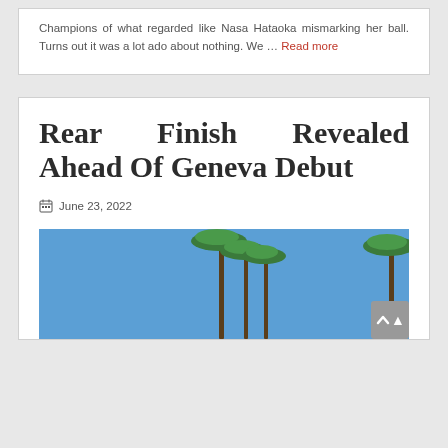Champions of what regarded like Nasa Hataoka mismarking her ball. Turns out it was a lot ado about nothing. We … Read more
Rear Finish Revealed Ahead Of Geneva Debut
June 23, 2022
[Figure (photo): Photo of palm trees against a blue sky, partially visible at the bottom of the card]